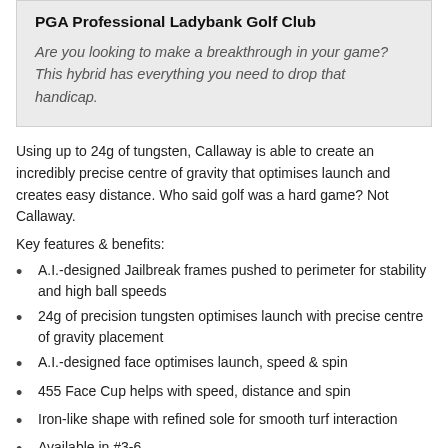PGA Professional Ladybank Golf Club
Are you looking to make a breakthrough in your game? This hybrid has everything you need to drop that handicap.
Using up to 24g of tungsten, Callaway is able to create an incredibly precise centre of gravity that optimises launch and creates easy distance. Who said golf was a hard game? Not Callaway.
Key features & benefits:
A.I.-designed Jailbreak frames pushed to perimeter for stability and high ball speeds
24g of precision tungsten optimises launch with precise centre of gravity placement
A.I.-designed face optimises launch, speed & spin
455 Face Cup helps with speed, distance and spin
Iron-like shape with refined sole for smooth turf interaction
Available in #3-6
If you want make serious improvements, you'll want these hybrids